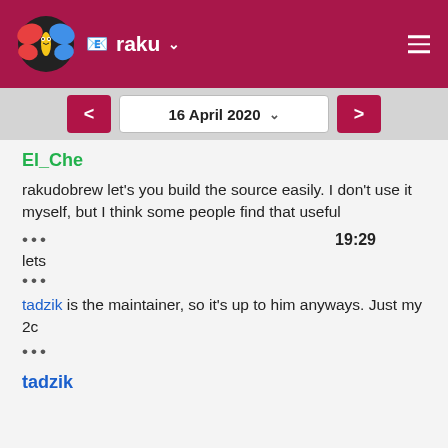raku
16 April 2020
El_Che
rakudobrew let's you build the source easily. I don't use it myself, but I think some people find that useful
••• 19:29
lets
•••
tadzik is the maintainer, so it's up to him anyways. Just my 2c
•••
tadzik